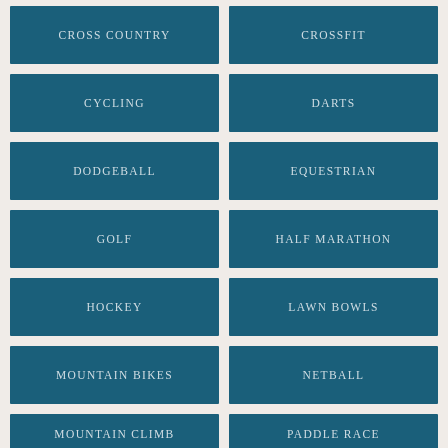CROSS COUNTRY
CROSSFIT
CYCLING
DARTS
DODGEBALL
EQUESTRIAN
GOLF
HALF MARATHON
HOCKEY
LAWN BOWLS
MOUNTAIN BIKES
NETBALL
MOUNTAIN CLIMB
PADDLE RACE